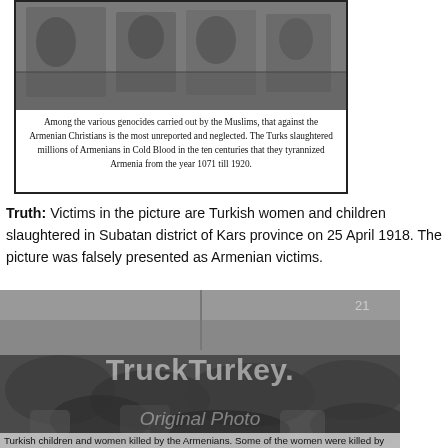[Figure (photo): Black and white historical photograph of crowds of people, shown inside a bordered box at the top of the page.]
Among the various genocides carried out by the Muslims, that against the Armenian Christians is the most unreported and neglected. The Turks slaughtered millions of Armenians in Cold Blood in the ten centuries that they tyrannized Armenia from the year 1071 till 1920.
Truth: Victims in the picture are Turkish women and children slaughtered in Subatan district of Kars province on 25 April 1918. The picture was falsely presented as Armenian victims.
[Figure (photo): Black and white historical photograph showing bodies of victims, with TruckTurkey watermark and 'Original Photo' watermark overlaid. Caption at bottom reads: Turkish children and women killed by the Armenians. Some of the women were killed by]